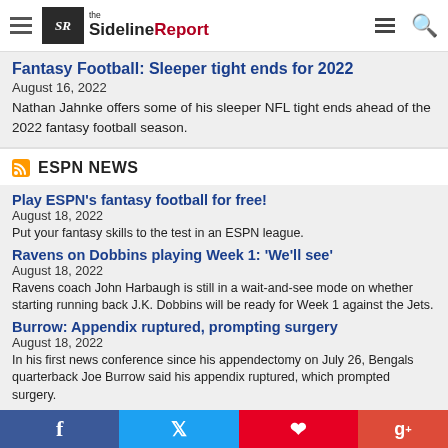the SidelineReport
Fantasy Football: Sleeper tight ends for 2022
August 16, 2022
Nathan Jahnke offers some of his sleeper NFL tight ends ahead of the 2022 fantasy football season.
ESPN NEWS
Play ESPN's fantasy football for free!
August 18, 2022
Put your fantasy skills to the test in an ESPN league.
Ravens on Dobbins playing Week 1: 'We'll see'
August 18, 2022
Ravens coach John Harbaugh is still in a wait-and-see mode on whether starting running back J.K. Dobbins will be ready for Week 1 against the Jets.
Burrow: Appendix ruptured, prompting surgery
August 18, 2022
In his first news conference since his appendectomy on July 26, Bengals quarterback Joe Burrow said his appendix ruptured, which prompted surgery.
Facebook Twitter Pinterest Google+